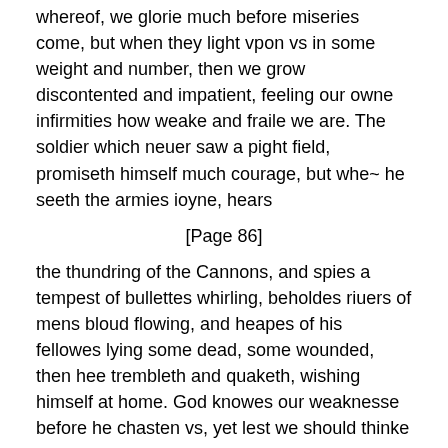whereof, we glorie much before miseries come, but when they light vpon vs in some weight and number, then we grow discontented and impatient, feeling our owne infirmities how weake and fraile we are. The soldier which neuer saw a pight field, promiseth himself much courage, but whe~ he seeth the armies ioyne, hears
[Page 86]
the thundring of the Cannons, and spies a tempest of bullettes whirling, beholdes riuers of mens bloud flowing, and heapes of his fellowes lying some dead, some wounded, then hee trembleth and quaketh, wishing himself at home. God knowes our weaknesse before he chasten vs, yet lest we should thinke better of our selues then we ought, he will make vs feele his hand, that we may confesse it our selues. Some will not stick to say, I wil rather die then rob: (alas not knowing the gripes of hunger and Famine, which wil, as we say, breake through stone walles,) who afterwarde beeing in want, are driuen to fall into suche leaude practises, for life is sweete.